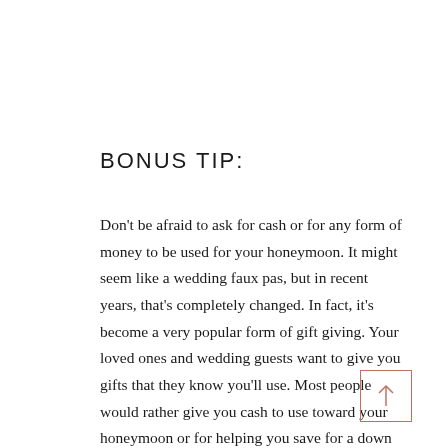BONUS TIP:
Don't be afraid to ask for cash or for any form of money to be used for your honeymoon. It might seem like a wedding faux pas, but in recent years, that's completely changed. In fact, it's become a very popular form of gift giving. Your loved ones and wedding guests want to give you gifts that they know you'll use. Most people would rather give you cash to use toward your honeymoon or for helping you save for a down payment on a home instead of